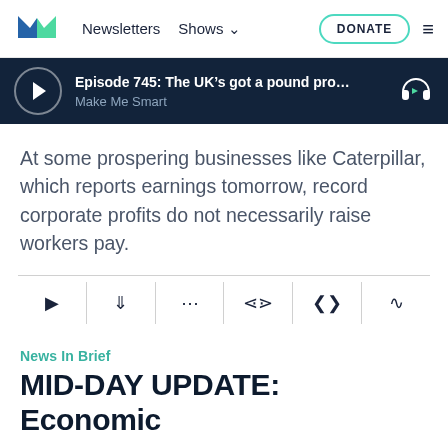[Figure (logo): Marketplace logo - blue and green M shape]
Newsletters  Shows  DONATE
Episode 745: The UK's got a pound pro... Make Me Smart
At some prospering businesses like Caterpillar, which reports earnings tomorrow, record corporate profits do not necessarily raise workers pay.
News In Brief
MID-DAY UPDATE: Economic